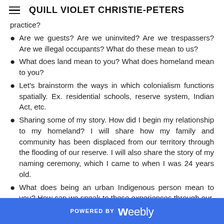QUILL VIOLET CHRISTIE-PETERS
practice?
Are we guests? Are we uninvited? Are we trespassers? Are we illegal occupants? What do these mean to us?
What does land mean to you? What does homeland mean to you?
Let's brainstorm the ways in which colonialism functions spatially. Ex. residential schools, reserve system, Indian Act, etc.
Sharing some of my story. How did I begin my relationship to my homeland? I will share how my family and community has been displaced from our territory through the flooding of our reserve. I will also share the story of my naming ceremony, which I came to when I was 24 years old.
What does being an urban Indigenous person mean to you? How can we speak to these experiences through our
POWERED BY weebly